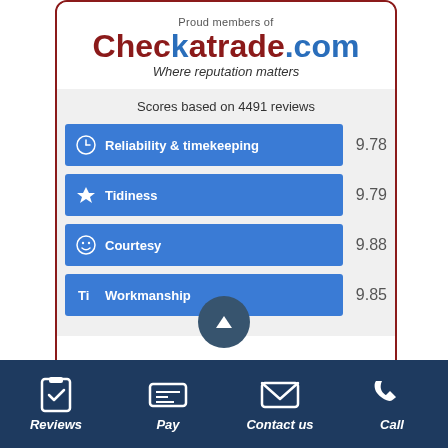[Figure (infographic): Checkatrade.com membership badge with scores based on 4491 reviews. Shows bar chart scores for: Reliability & timekeeping 9.78, Tidiness 9.79, Courtesy 9.88, Workmanship 9.85]
Proud members of
Checkatrade.com
Where reputation matters
Scores based on 4491 reviews
Reliability & timekeeping 9.78
Tidiness 9.79
Courtesy 9.88
Workmanship 9.85
Reviews
Pay
Contact us
Call